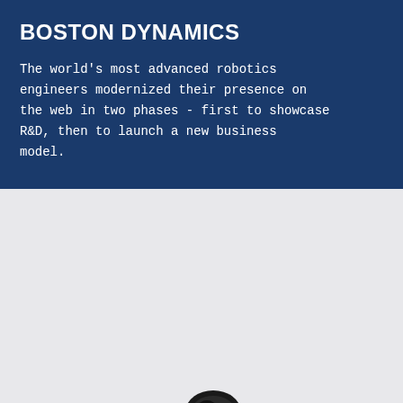BOSTON DYNAMICS
The world's most advanced robotics engineers modernized their presence on the web in two phases - first to showcase R&D, then to launch a new business model.
[Figure (illustration): A Boston Dynamics Atlas robot in a running pose on a light grey background. The robot is white and black with mechanical joints and limbs, mid-stride with legs extended, leaning forward dynamically.]